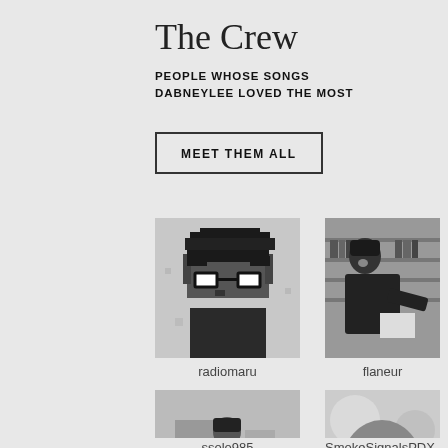The Crew
PEOPLE WHOSE SONGS DABNEYLEE LOVED THE MOST
MEET THEM ALL
[Figure (illustration): Pixel art avatar of a character with glasses and dark hair]
radiomaru
[Figure (photo): Black and white photo of a man leaning over, appears to be in a bookstore or library]
flaneur
[Figure (photo): Black and white photo of a person at an outdoor event or street scene]
ssolo985
[Figure (photo): Black and white close-up photo of a person wearing thick-framed glasses]
SmokeSignalsPDX